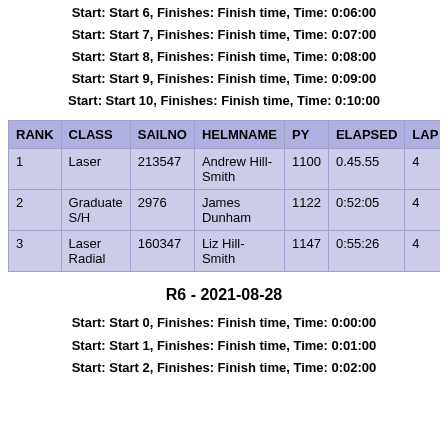Start: Start 6, Finishes: Finish time, Time: 0:06:00
Start: Start 7, Finishes: Finish time, Time: 0:07:00
Start: Start 8, Finishes: Finish time, Time: 0:08:00
Start: Start 9, Finishes: Finish time, Time: 0:09:00
Start: Start 10, Finishes: Finish time, Time: 0:10:00
| RANK | CLASS | SAILNO | HELMNAME | PY | ELAPSED | LAP |
| --- | --- | --- | --- | --- | --- | --- |
| 1 | Laser | 213547 | Andrew Hill-Smith | 1100 | 0.45.55 | 4 |
| 2 | Graduate S/H | 2976 | James Dunham | 1122 | 0:52:05 | 4 |
| 3 | Laser Radial | 160347 | Liz Hill-Smith | 1147 | 0:55:26 | 4 |
R6 - 2021-08-28
Start: Start 0, Finishes: Finish time, Time: 0:00:00
Start: Start 1, Finishes: Finish time, Time: 0:01:00
Start: Start 2, Finishes: Finish time, Time: 0:02:00